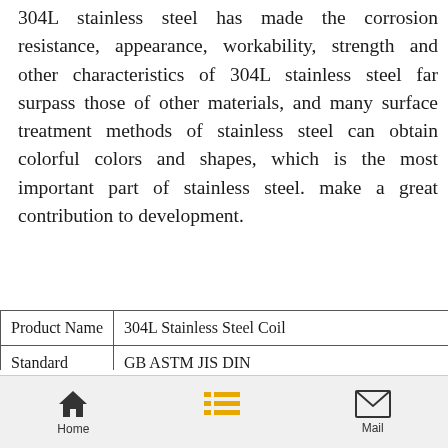304L stainless steel has made the corrosion resistance, appearance, workability, strength and other characteristics of 304L stainless steel far surpass those of other materials, and many surface treatment methods of stainless steel can obtain colorful colors and shapes, which is the most important part of stainless steel. make a great contribution to development.
| Product Name | 304L Stainless Steel Coil |
| Standard | GB ASTM JIS DIN |
| Material | 2B,200 Series,300 Series,400 Series,500 Serie...
201, 202, 301, 302, 304, 304L, 316, 316L, 309... |
Home   Mail